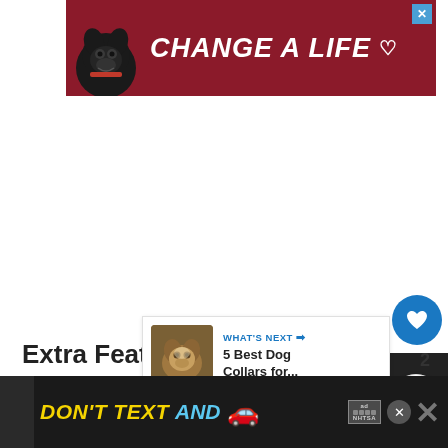[Figure (illustration): Top banner advertisement with dark red/maroon background showing a black dog and bold white italic text 'CHANGE A LIFE' with a heart icon. Blue X close button in top right.]
[Figure (other): Blue circular like/heart button with white heart icon, like count '2' below, and white circular share button with share icon]
[Figure (other): WHAT'S NEXT panel showing a dog photo thumbnail and text '5 Best Dog Collars for...']
Extra Features
[Figure (illustration): Bottom banner advertisement on black background with yellow text 'DON'T TEXT' and cyan text 'AND', a red car emoji, ad label box, NHTSA logo, and X close button]